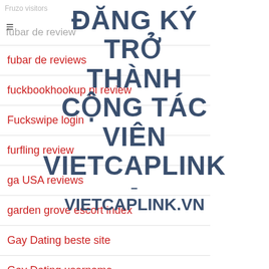Fruzo visitors
fubar de review
ĐĂNG KÝ TRỞ THÀNH CỘNG TÁC VIÊN VIETCAPLINK – VIETCAPLINK.VN
fubar de reviews
fuckbookhookup pl review
Fuckswipe login
furfling review
ga USA reviews
garden grove escort index
Gay Dating beste site
Gay Dating username
gaydar de review
gaydar es review